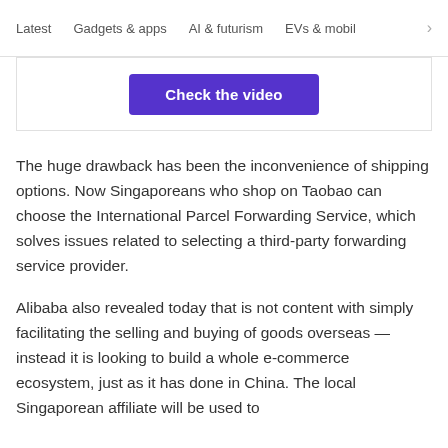Latest   Gadgets & apps   AI & futurism   EVs & mobil >
[Figure (other): Purple button labeled 'Check the video' inside a bordered box]
The huge drawback has been the inconvenience of shipping options. Now Singaporeans who shop on Taobao can choose the International Parcel Forwarding Service, which solves issues related to selecting a third-party forwarding service provider.
Alibaba also revealed today that is not content with simply facilitating the selling and buying of goods overseas — instead it is looking to build a whole e-commerce ecosystem, just as it has done in China. The local Singaporean affiliate will be used to...